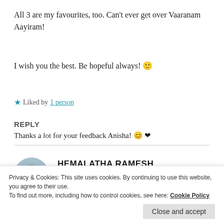All 3 are my favourites, too. Can't ever get over Vaaranam Aayiram!
I wish you the best. Be hopeful always! 🙂
★ Liked by 1 person
REPLY
[Figure (photo): Circular avatar photo of Hemalatha Ramesh]
HEMALATHA RAMESH
July 1, 2020 at 8:10 am
Thanks a lot for your feedback Anisha! 😊 ❤
Privacy & Cookies: This site uses cookies. By continuing to use this website, you agree to their use.
To find out more, including how to control cookies, see here: Cookie Policy
Close and accept